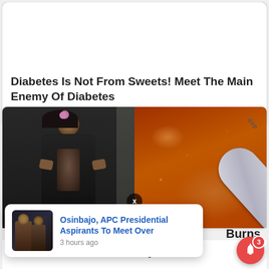[Figure (photo): Close-up photo of sugar crystals/candy on a brown surface, top portion of ad card]
Diabetes Is Not From Sweets! Meet The Main Enemy Of Diabetes
Blood Sugar Balance
[Figure (photo): Left: woman in black jacket showing abs; Right: close-up of brown spice/seasoning with a metal measuring spoon]
[Figure (photo): Notification popup with thumbnail of two men in suits. Headline: Osinbajo, APC Presidential Aspirants To Meet Over. Time: 3 hours ago]
Osinbajo, APC Presidential Aspirants To Meet Over
3 hours ago
Burns
Lbs Of Fat A Week Safely!
Keto